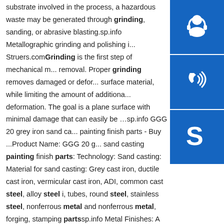substrate involved in the process, a hazardous waste may be generated through grinding, sanding, or abrasive blasting.sp.info Metallographic grinding and polishing i... Struers.comGrinding is the first step of mechanical m... removal. Proper grinding removes damaged or defor... surface material, while limiting the amount of additiona... deformation. The goal is a plane surface with minimal damage that can easily be …sp.info GGG 20 grey iron sand ca... painting finish parts - Buy ...Product Name: GGG 20 g... sand casting painting finish parts: Technology: Sand casting: Material for sand casting: Grey cast iron, ductile cast iron, vermicular cast iron, ADI, common cast steel, alloy steel i, tubes, round steel, stainless steel, nonferrous metal and nonferrous metal, forging, stamping partssp.info Metal Finishes: A Concise Overview - Industrial Paint and ...Again,
[Figure (illustration): Blue square icon with white headset/customer support symbol]
[Figure (illustration): Blue square icon with white phone/call symbol]
[Figure (illustration): Blue square icon with white Skype logo symbol]